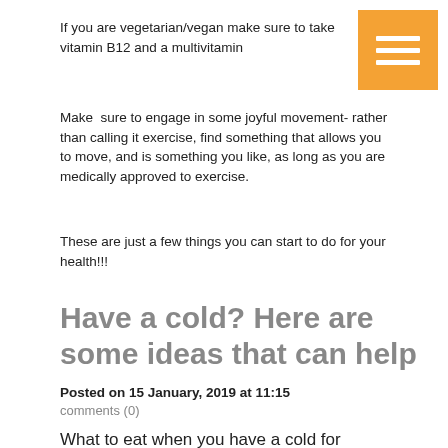If you are vegetarian/vegan make sure to take vitamin B12 and a multivitamin
Make  sure to engage in some joyful movement- rather than calling it exercise, find something that allows you to move, and is something you like, as long as you are medically approved to exercise.
These are just a few things you can start to do for your health!!!
Have a cold? Here are some ideas that can help
Posted on 15 January, 2019 at 11:15
comments (0)
What to eat when you have a cold for vegetarian/non vegetarians:
As I am fighting a cold myself and I am sure many of you are since stuff is going around, I figured I'd offer some ideas: